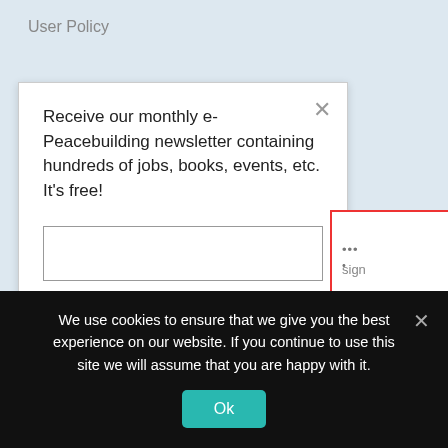User Policy
[Figure (screenshot): White modal dialog for newsletter signup. Contains close X button, text about monthly e-Peacebuilding newsletter, email input field, Register button, and opt-in checkbox for CoPeSe services.]
[Figure (screenshot): Partially visible second modal with red border, gray X close button, logo/dots, red horizontal line, and red bold text 'ed CoPeSe'.]
We use cookies to ensure that we give you the best experience on our website. If you continue to use this site we will assume that you are happy with it.